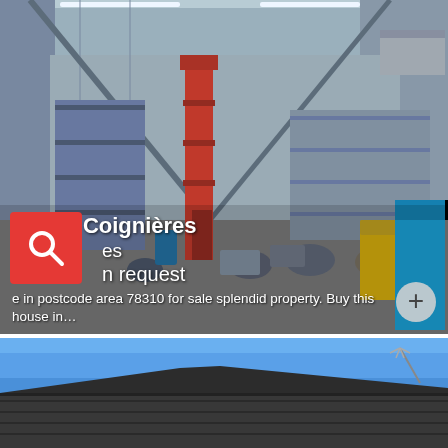[Figure (photo): Interior of a large industrial warehouse with metal walls and ceiling, fluorescent strip lights, a red forklift/stacker in the center, shelving units with equipment and parts, various machinery on the floor, and a blue scissor lift on the right side.]
house Coignières
Vend...es
...n request
...e in postcode area 78310 for sale splendid property. Buy this house in…
[Figure (photo): Exterior photo showing a roofline of a house against a blue sky, with a TV antenna visible on the right side.]